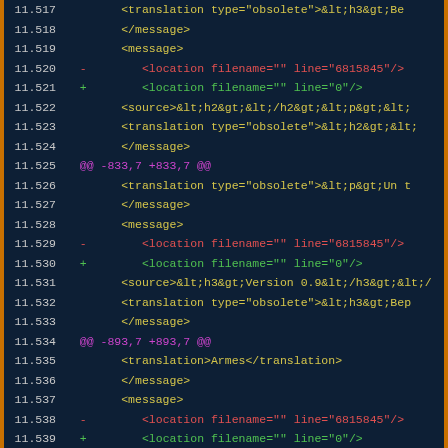[Figure (screenshot): Code diff viewer showing XML translation file changes, dark theme with line numbers 11.517-11.545, orange border, lines in yellow/green/red/magenta colors]